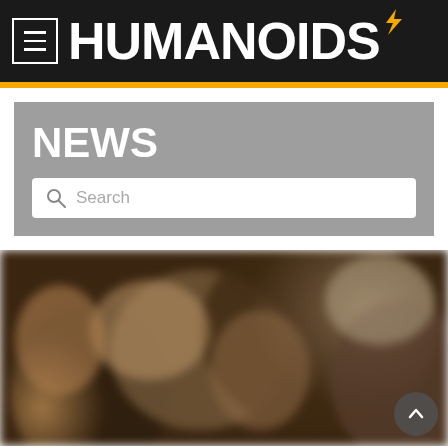HUMANOIDS
NEWS
Search
[Figure (photo): Blurred group of people, comic book style artwork or movie still, dark toned image showing multiple figures]